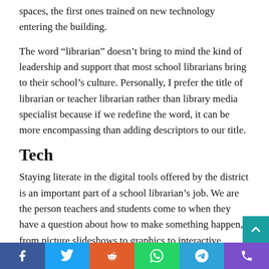spaces, the first ones trained on new technology entering the building.
The word “librarian” doesn’t bring to mind the kind of leadership and support that most school librarians bring to their school’s culture. Personally, I prefer the title of librarian or teacher librarian rather than library media specialist because if we redefine the word, it can be more encompassing than adding descriptors to our title.
Tech
Staying literate in the digital tools offered by the district is an important part of a school librarian’s job. We are the person teachers and students come to when they have a question about how to make something happen, from picture slideshows to graphics to interactive education...